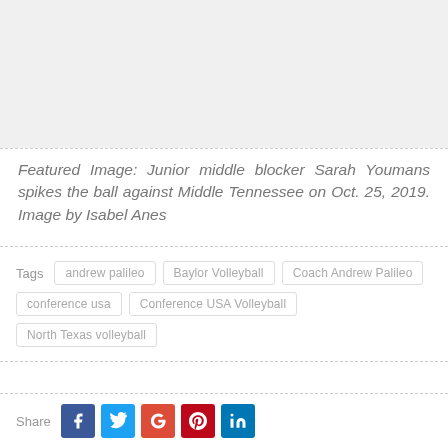[Figure (photo): Placeholder for featured image area (blank/grey area at top of page)]
Featured Image: Junior middle blocker Sarah Youmans spikes the ball against Middle Tennessee on Oct. 25, 2019. Image by Isabel Anes
Tags  andrew palileo  Baylor Volleyball  Coach Andrew Palileo  conference usa  Conference USA Volleyball  North Texas volleyball
Share